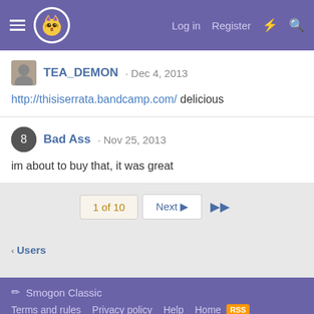Smogon Forums — Log in | Register
TEA_DEMON · Dec 4, 2013
http://thisiserrata.bandcamp.com/ delicious
Bad Ass · Nov 25, 2013
im about to buy that, it was great
1 of 10  Next  ▶▶
< Users
Smogon Classic
Terms and rules  Privacy policy  Help  Home  RSS
[Please excuse our look during the redesign :)]
Forum software by XenForo® © 2010-2020 XenForo Ltd.